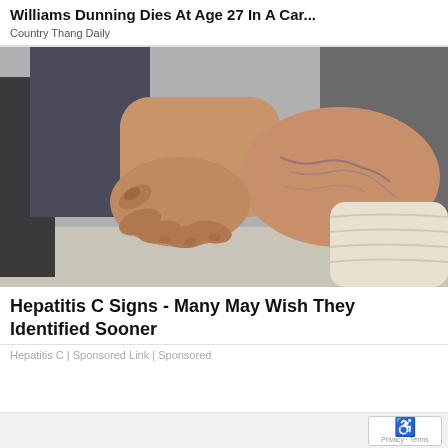Williams Dunning Dies At Age 27 In A Car...
Country Thang Daily
[Figure (photo): Close-up photo of a person's hands holding their ankle/foot, which shows visible veins/bruising. The foot is wearing a white sock pushed down around the heel.]
Hepatitis C Signs - Many May Wish They Identified Sooner
Hepatitis C | Sponsored Link | Sponsored